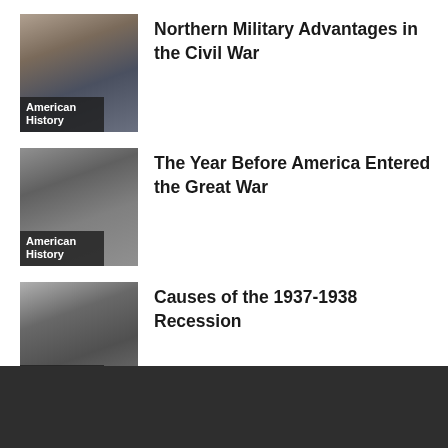[Figure (photo): Thumbnail image of Civil War battle scene with soldiers, labeled 'American History']
Northern Military Advantages in the Civil War
[Figure (photo): Thumbnail black and white photo of military officers, labeled 'American History']
The Year Before America Entered the Great War
[Figure (photo): Thumbnail black and white photo of a man indoors, labeled 'American History']
Causes of the 1937-1938 Recession